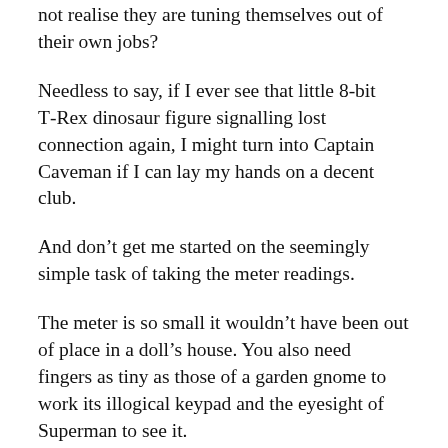not realise they are tuning themselves out of their own jobs?
Needless to say, if I ever see that little 8-bit T-Rex dinosaur figure signalling lost connection again, I might turn into Captain Caveman if I can lay my hands on a decent club.
And don’t get me started on the seemingly simple task of taking the meter readings.
The meter is so small it wouldn’t have been out of place in a doll’s house. You also need fingers as tiny as those of a garden gnome to work its illogical keypad and the eyesight of Superman to see it.
I’ve never had much energy, patience or inclination for all this stuff and after two days of it I felt like putting my head in the oven (not that I could get it to work, you understand).